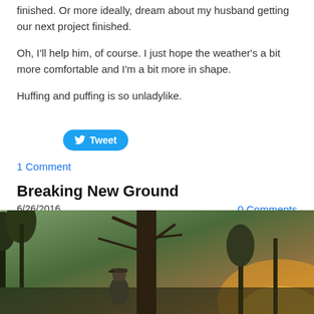finished. Or more ideally, dream about my husband getting our next project finished.
Oh, I'll help him, of course. I just hope the weather's a bit more comfortable and I'm a bit more in shape.
Huffing and puffing is so unladylike.
[Figure (screenshot): Twitter Tweet button — blue rounded pill button with bird icon and 'Tweet' text]
1 Comment
Breaking New Ground
6/26/2016   0 Comments
[Figure (photo): Outdoor photo of a person in a cap standing near a large tree with bare branches, taken at sunset with golden light in background and trees in the distance.]